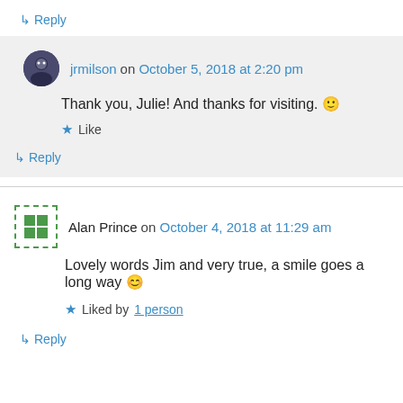↳ Reply
jrmilson on October 5, 2018 at 2:20 pm
Thank you, Julie! And thanks for visiting. 🙂
★ Like
↳ Reply
Alan Prince on October 4, 2018 at 11:29 am
Lovely words Jim and very true, a smile goes a long way 😊
★ Liked by 1 person
↳ Reply